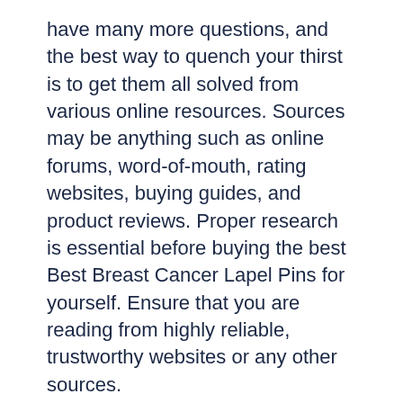have many more questions, and the best way to quench your thirst is to get them all solved from various online resources. Sources may be anything such as online forums, word-of-mouth, rating websites, buying guides, and product reviews. Proper research is essential before buying the best Best Breast Cancer Lapel Pins for yourself. Ensure that you are reading from highly reliable, trustworthy websites or any other sources.
We offer a buying guide for Best Breast Cancer Lapel Pins, and we provide 100% genuine and unbiased information. We make use of Big Data and AI data to proofread the information. How has this buying guide been made? We have a uniquely designed set of algorithms, which enable us to make a list of top 10 Best Breast Cancer Lapel Pins that are available in the marketplace these days. Our technology of bringing together a list depends on